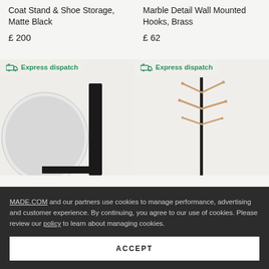Coat Stand & Shoe Storage, Matte Black
£ 200
Marble Detail Wall Mounted Hooks, Brass
£ 62
[Figure (photo): Express dispatch badge and product image - a round circular mirror with black frame, partially visible]
[Figure (photo): Express dispatch badge and product image - a coat stand with wooden branch-like hooks on a dark pole]
MADE.COM and our partners use cookies to manage performance, advertising and customer experience. By continuing, you agree to our use of cookies. Please review our policy to learn about managing cookies.
ACCEPT